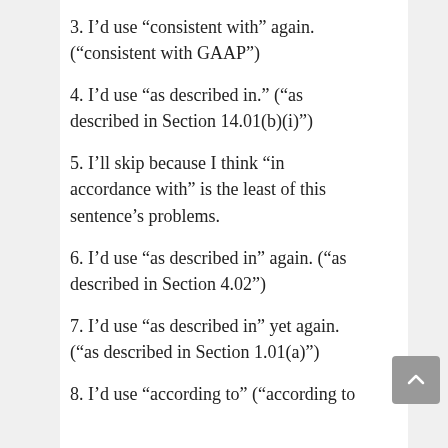3. I’d use “consistent with” again. (“consistent with GAAP”)
4. I’d use “as described in.” (“as described in Section 14.01(b)(i)”)
5. I’ll skip because I think “in accordance with” is the least of this sentence’s problems.
6. I’d use “as described in” again. (“as described in Section 4.02”)
7. I’d use “as described in” yet again. (“as described in Section 1.01(a)”)
8. I’d use “according to” (“according to…